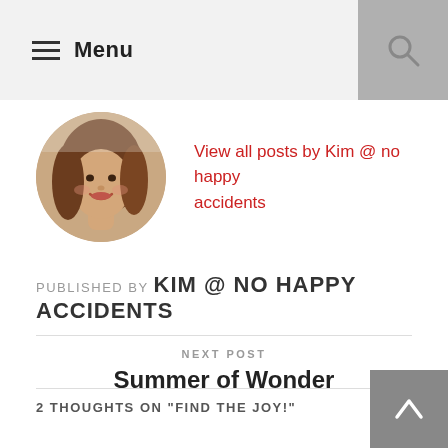Menu
[Figure (photo): Circular profile photo of Kim, a woman with long brown hair smiling]
View all posts by Kim @ no happy accidents
PUBLISHED BY KIM @ NO HAPPY ACCIDENTS
NEXT POST
Summer of Wonder
2 THOUGHTS ON "FIND THE JOY!"